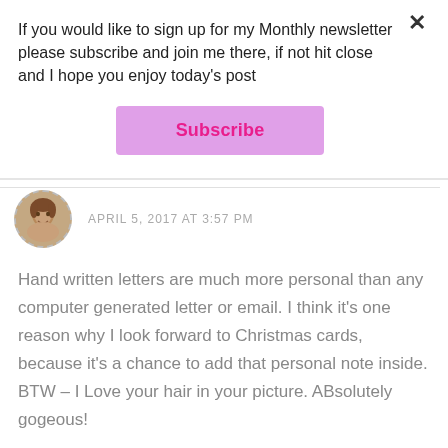If you would like to sign up for my Monthly newsletter please subscribe and join me there, if not hit close and I hope you enjoy today's post
[Figure (other): Subscribe button — a lavender/pink rectangle with magenta bold text 'Subscribe']
[Figure (photo): Round avatar photo of a smiling woman with short hair, dashed circle border]
APRIL 5, 2017 AT 3:57 PM
Hand written letters are much more personal than any computer generated letter or email. I think it's one reason why I look forward to Christmas cards, because it's a chance to add that personal note inside. BTW – I Love your hair in your picture. ABsolutely gogeous!
★ Like
Reply